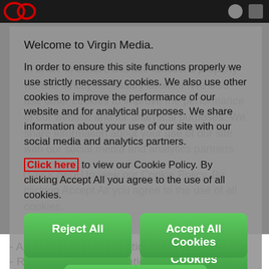[Figure (logo): Virgin Media logo (red arc shapes) in top navigation bar]
Welcome to Virgin Media.
In order to ensure this site functions properly we use strictly necessary cookies. We also use other cookies to improve the performance of our website and for analytical purposes. We share information about your use of our site with our social media and analytics partners.
Click here to view our Cookie Policy. By clicking Accept All you agree to the use of all cookies.
Reject All
Accept All Cookies
Manage Cookies
- Access to your information
- Rectifying your information